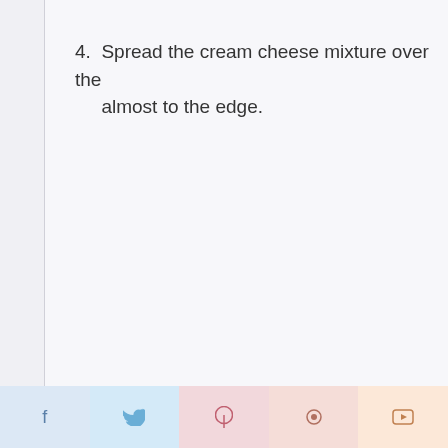4. Spread the cream cheese mixture over the almost to the edge.
f  ❧  ℗  ☺  ➤